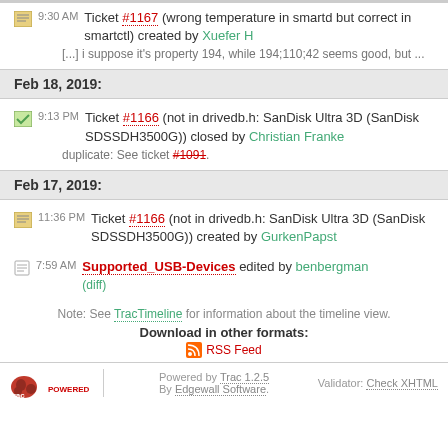9:30 AM Ticket #1167 (wrong temperature in smartd but correct in smartctl) created by Xuefer H
[...] i suppose it's property 194, while 194;110;42 seems good, but ...
Feb 18, 2019:
9:13 PM Ticket #1166 (not in drivedb.h: SanDisk Ultra 3D (SanDisk SDSSDH3500G)) closed by Christian Franke
duplicate: See ticket #1091.
Feb 17, 2019:
11:36 PM Ticket #1166 (not in drivedb.h: SanDisk Ultra 3D (SanDisk SDSSDH3500G)) created by GurkenPapst
7:59 AM Supported_USB-Devices edited by benbergman (diff)
Note: See TracTimeline for information about the timeline view.
Download in other formats:
RSS Feed
Powered by Trac 1.2.5 By Edgewall Software. Validator: Check XHTML